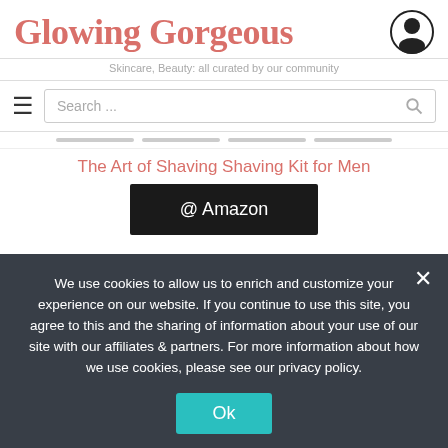Glowing Gorgeous
Skincare, Beauty: all curated by our community
The Art of Shaving Shaving Kit for Men
[Figure (other): Black button labeled '@ Amazon']
The Art of Shaving Full-Size Kit is a perfect shaving set for any man. It has everything he needs for an upgraded shaving routine: a pre-shave oil, a shaving
We use cookies to allow us to enrich and customize your experience on our website. If you continue to use this site, you agree to this and the sharing of information about your use of our site with our affiliates & partners. For more information about how we use cookies, please see our privacy policy.